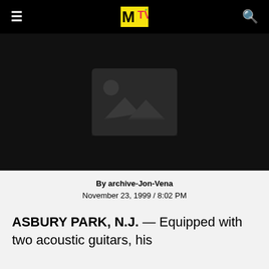MTV
[Figure (photo): Placeholder image thumbnail with mountains and sun icon on dark background]
By archive-Jon-Vena
November 23, 1999 / 8:02 PM
ASBURY PARK, N.J. — Equipped with two acoustic guitars, his